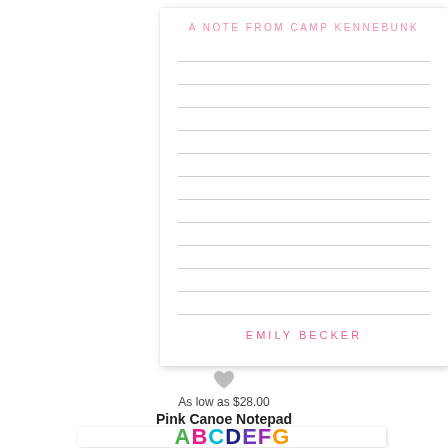[Figure (illustration): A white notepad with 'A NOTE FROM CAMP KENNEBUNK' printed in pink at the top, horizontal ruled lines in the middle, and 'EMILY BECKER' printed in pink at the bottom. The notepad has a drop shadow.]
[Figure (illustration): A small gray heart icon below the notepad.]
As low as $28.00
Pink Canoe Notepad
[Figure (illustration): A white card showing colorful block letters A B C D E F G in green, pink, teal, dark blue, purple, orange, and other colors.]